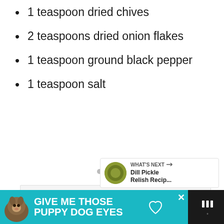1 teaspoon dried chives
2 teaspoons dried onion flakes
1 teaspoon ground black pepper
1 teaspoon salt
[Figure (screenshot): Webpage screenshot area with image carousel placeholder, heart/save button (66 saves), share button, and 'WHAT'S NEXT' card showing Dill Pickle Relish Recipe. Bottom banner ad: 'GIVE ME THOSE PUPPY DOG EYES' on teal background.]